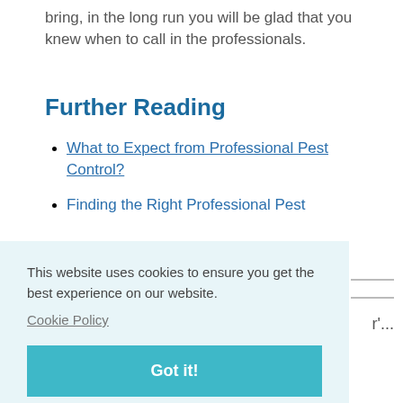bring, in the long run you will be glad that you knew when to call in the professionals.
Further Reading
What to Expect from Professional Pest Control?
Finding the Right Professional Pest
This website uses cookies to ensure you get the best experience on our website.
Cookie Policy
Got it!
r...
sk
Title: (never shown)